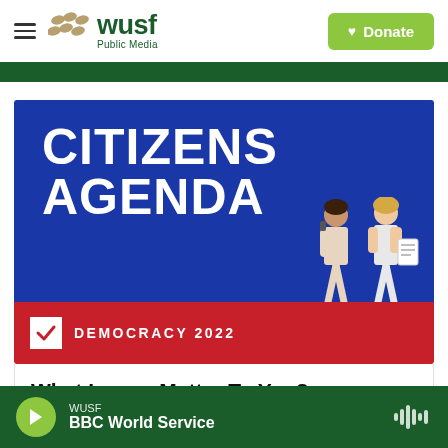WUSF Public Media — Donate
[Figure (illustration): Citizens Agenda Democracy 2022 promotional image with large white bold text 'CITIZENS AGENDA' on blue background, red bar below with checkbox icon and text 'DEMOCRACY 2022', two illustrated people figures at bottom right]
What Issues Matter To You?
WUSF — BBC World Service (audio player)